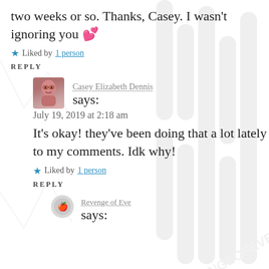two weeks or so. Thanks, Casey. I wasn't ignoring you 💕
★ Liked by 1 person
REPLY
Casey Elizabeth Dennis says:
July 19, 2019 at 2:18 am
It's okay! they've been doing that a lot lately to my comments. Idk why!
★ Liked by 1 person
REPLY
Revenge of Eve
says: